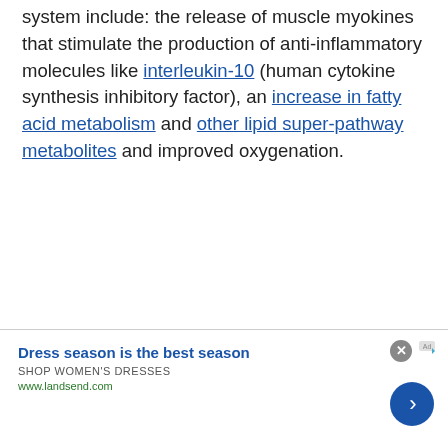system include: the release of muscle myokines that stimulate the production of anti-inflammatory molecules like interleukin-10 (human cytokine synthesis inhibitory factor), an increase in fatty acid metabolism and other lipid super-pathway metabolites and improved oxygenation.
[Figure (other): Advertisement banner for Lands' End: 'Dress season is the best season', SHOP WOMEN'S DRESSES, www.landsend.com, with close button and forward arrow button]